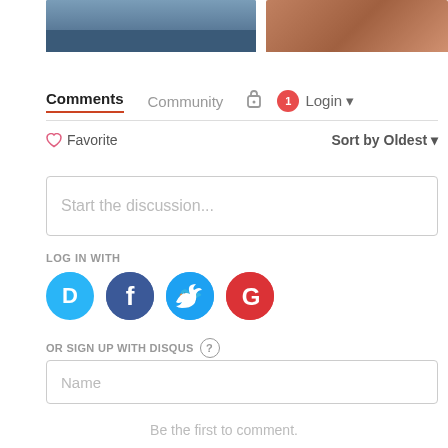[Figure (photo): Two partial photos at top: left is a snowy outdoor scene with a car, right is a warm-toned skin/textile photo]
Comments  Community  Login
Favorite  Sort by Oldest
Start the discussion...
LOG IN WITH
[Figure (logo): Social login icons: Disqus (blue D), Facebook (dark blue f), Twitter (light blue bird), Google (red G)]
OR SIGN UP WITH DISQUS ?
Name
Be the first to comment.